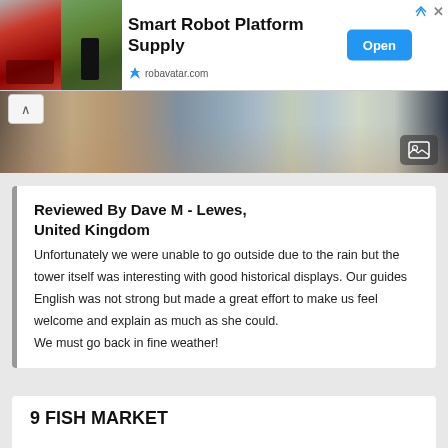[Figure (screenshot): Advertisement banner for Smart Robot Platform Supply from robavatar.com with two robot images on the left, text in the center, and an Open button on the right.]
[Figure (photo): Panoramic photo strip of European town buildings with red rooftops and a car visible, with an image gallery icon overlay in bottom right.]
Reviewed By Dave M - Lewes, United Kingdom
Unfortunately we were unable to go outside due to the rain but the tower itself was interesting with good historical displays. Our guides English was not strong but made a great effort to make us feel welcome and explain as much as she could.
We must go back in fine weather!
9  FISH MARKET